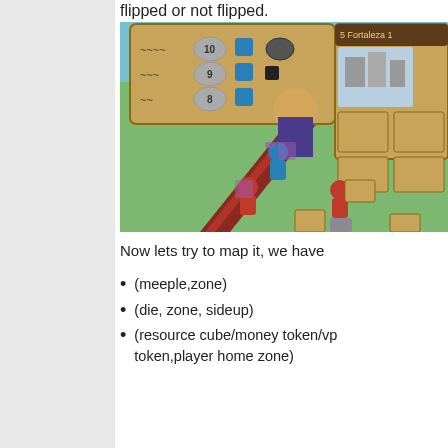flipped or not flipped.
[Figure (photo): Board game image showing a game board with meeples, dice, zones, and a player card labeled 'Fortaleza']
Now lets try to map it, we have
(meeple,zone)
(die, zone, sideup)
(resource cube/money token/vp token,player home zone)